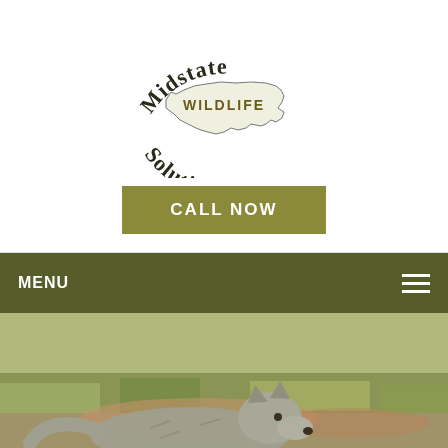[Figure (logo): Midstate Wildlife Solutions logo with North Carolina state outline and 'WILDLIFE' text in camouflage style lettering, 'Midstate' arched above, 'Solutions' arched below]
[Figure (other): Olive/tan colored call-to-action button reading 'CALL NOW']
MENU
[Figure (photo): Outdoor photo showing a coyote or wolf-like animal in a grassy field with reddish-brown dirt visible]